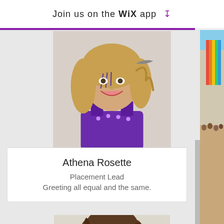Join us on the WiX app ↓
[Figure (photo): Woman with face paint, curly hair, purple costume, smiling — festival photo (Burning Man style)]
Athena Rosette
Placement Lead
Greeting all equal and the same.
[Figure (photo): Man with curly long hair and mustache, smiling, outdoor desert festival setting]